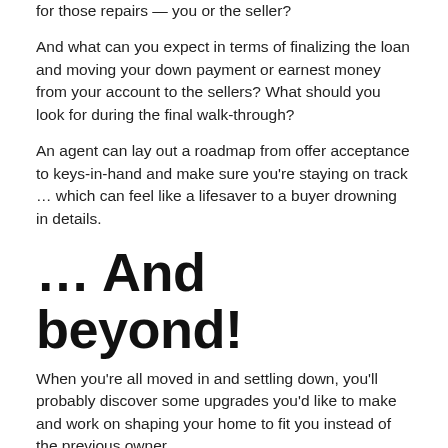for those repairs — you or the seller?
And what can you expect in terms of finalizing the loan and moving your down payment or earnest money from your account to the sellers? What should you look for during the final walk-through?
An agent can lay out a roadmap from offer acceptance to keys-in-hand and make sure you're staying on track … which can feel like a lifesaver to a buyer drowning in details.
… And beyond!
When you're all moved in and settling down, you'll probably discover some upgrades you'd like to make and work on shaping your home to fit you instead of the previous owner.
Your real estate professional already knows your house (and the neighborhood), so why not reach out when you're considering adding a deck or redoing a bathroom? They can help you figure out which improvements are timeless and will increase your home's value versus quickly dated trends that